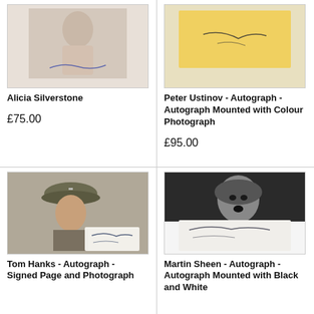[Figure (photo): Alicia Silverstone autograph photo - woman in light top with signature]
Alicia Silverstone
£75.00
[Figure (photo): Peter Ustinov autograph mounted with colour photograph - yellow/tan background with signature]
Peter Ustinov - Autograph - Autograph Mounted with Colour Photograph
£95.00
[Figure (photo): Tom Hanks autograph - signed page and photograph showing actor in military helmet (Saving Private Ryan)]
Tom Hanks - Autograph - Signed Page and Photograph
[Figure (photo): Martin Sheen autograph mounted with black and white photograph showing actor looking upward dramatically]
Martin Sheen - Autograph - Autograph Mounted with Black and White